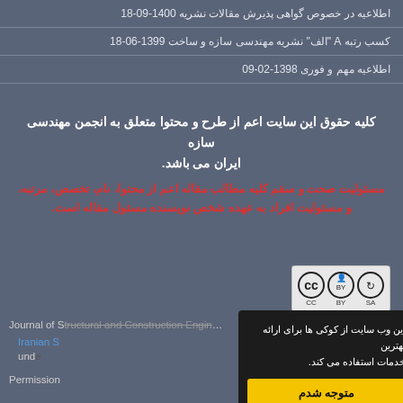اطلاعیه در خصوص گواهی پذیرش مقالات نشریه 1400-09-18
کسب رتبه A "الف" نشریه مهندسی سازه و ساخت 1399-06-18
اطلاعیه مهم و فوری 1398-02-09
کلیه حقوق این سایت اعم از طرح و محتوا متعلق به انجمن مهندسی سازه ایران می باشد.
مسئولیت صحت و سقم کلیه مطالب مقاله اعم از محتوا، نام، تخصص، مرتبه، و مسئولیت افراد به عهده شخص نویسنده مسئول مقاله است.
[Figure (logo): Creative Commons BY SA license badge]
Journal of Structural and Construction Engineering (JSCE) by Iranian S... under...
این وب سایت از کوکی ها برای اطمینان از ارائه بهترین خدمات استفاده می کند.
متوجه شدم
Permission...